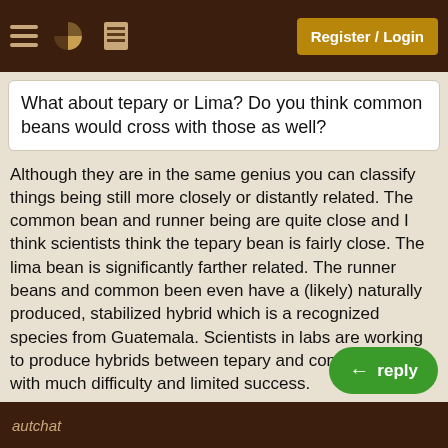Register / Login
What about tepary or Lima? Do you think common beans would cross with those as well?
Although they are in the same genius you can classify things being still more closely or distantly related. The common bean and runner being are quite close and I think scientists think the tepary bean is fairly close. The lima bean is significantly farther related. The runner beans and common been even have a (likely) naturally produced, stabilized hybrid which is a recognized species from Guatemala. Scientists in labs are working to produce hybrids between tepary and common beans with much difficulty and limited success.
That said, biology is messy and sometimes even intergeneric hybrids happen and sometimes they are viable. You never know! Just keep your e things that look different.
autchat